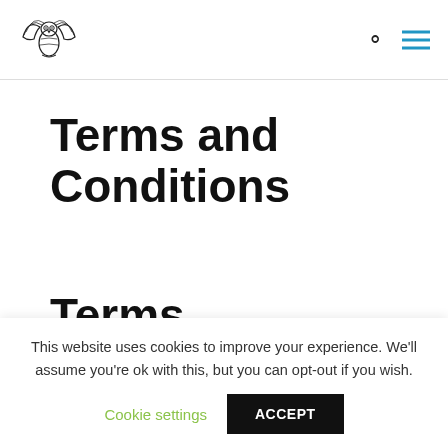Terms and Conditions – website header with logo, search icon, and menu
Terms and Conditions
Terms
This website uses cookies to improve your experience. We'll assume you're ok with this, but you can opt-out if you wish.
Cookie settings   ACCEPT